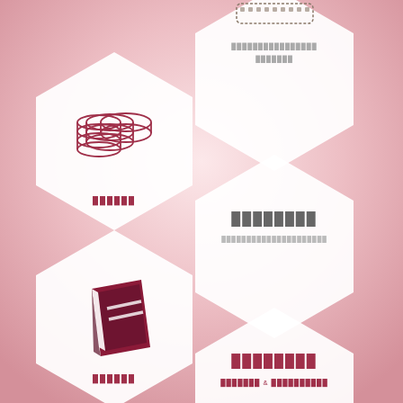[Figure (infographic): Infographic with hexagonal layout showing financial topics. Left column has two large white hexagons with icons (coins and book) and labels. Right column has three white hexagons with text labels and descriptions. Background is a pink-to-dusty-rose radial gradient.]